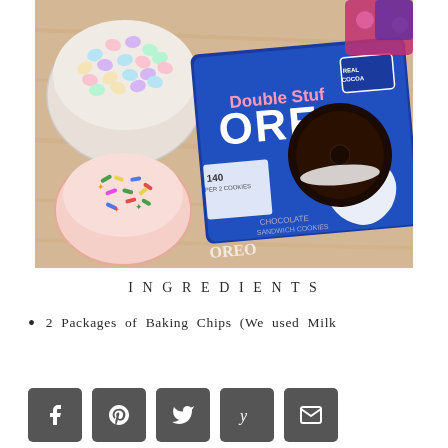[Figure (photo): Photo of Double Stuf Oreo package alongside a bowl of pastel candy-coated chocolates and a small bowl of colorful sprinkles on a light wood surface.]
INGREDIENTS
2 Packages of Baking Chips (We used Milk
[Figure (infographic): Social share buttons row: Facebook, Pinterest, Twitter, Yummly, Email]